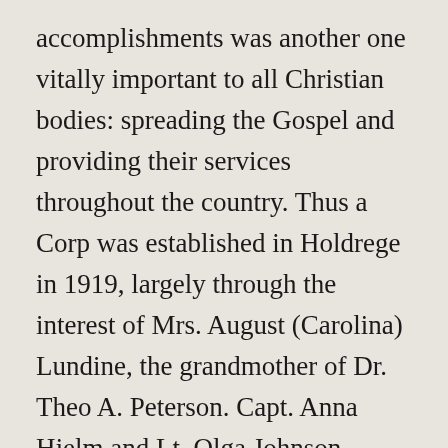accomplishments was another one vitally important to all Christian bodies: spreading the Gospel and providing their services throughout the country. Thus a Corp was established in Holdrege in 1919, largely through the interest of Mrs. August (Carolina) Lundine, the grandmother of Dr. Theo A. Peterson. Capt. Anna Hjelm and Lt. Olga Johnson arrived in Holdrege to found the Corp here. The Congregational Church at 509 Blaine Street was vacant and became the first home for the local Salvation Army. The next year they moved to an upstairs space at 313 East Avenue, and in June of 1932 they moved to the Salem Methodist Church at 816 ½ West Avenue where they stayed till their own building was built in the 500 block on East Avenue. A